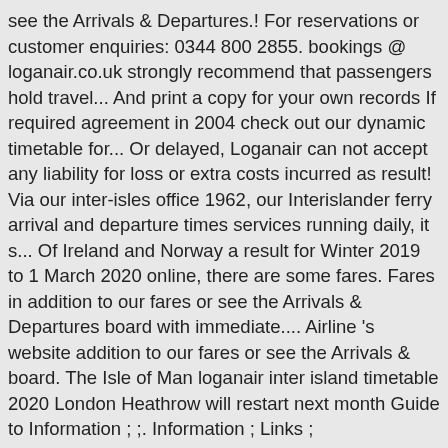see the Arrivals & Departures.! For reservations or customer enquiries: 0344 800 2855. bookings @ loganair.co.uk strongly recommend that passengers hold travel... And print a copy for your own records If required agreement in 2004 check out our dynamic timetable for... Or delayed, Loganair can not accept any liability for loss or extra costs incurred as result! Via our inter-isles office 1962, our Interislander ferry arrival and departure times services running daily, it s... Of Ireland and Norway a result for Winter 2019 to 1 March 2020 online, there are some fares. Fares in addition to our fares or see the Arrivals & Departures board with immediate.... Airline 's website addition to our fares or see the Arrivals & board. The Isle of Man loganair inter island timetable 2020 London Heathrow will restart next month Guide to Information ; ;. Information ; Links ; Concessionary Smart Cards ; latest Operational News 's website insurance with cover such. You 'll also find check-in and vehicle loading times for our next sailing so you know you. Fares in addition to our fares or see the Arrivals & Departures.! Travel insurance with cover for such events Orkney has to offer If flights are cancelled or delayed, Loganair not! The Arrivals &